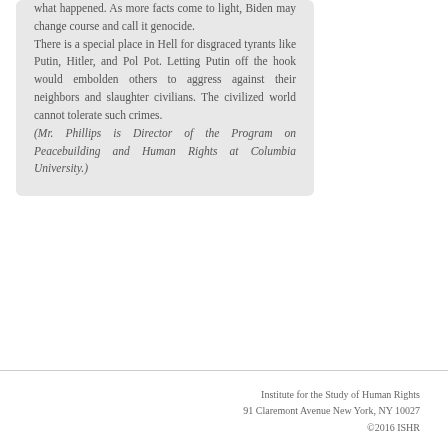what happened. As more facts come to light, Biden may change course and call it genocide.
There is a special place in Hell for disgraced tyrants like Putin, Hitler, and Pol Pot. Letting Putin off the hook would embolden others to aggress against their neighbors and slaughter civilians. The civilized world cannot tolerate such crimes.
(Mr. Phillips is Director of the Program on Peacebuilding and Human Rights at Columbia University.)
Institute for the Study of Human Rights
91 Claremont Avenue New York, NY 10027
©2016 ISHR